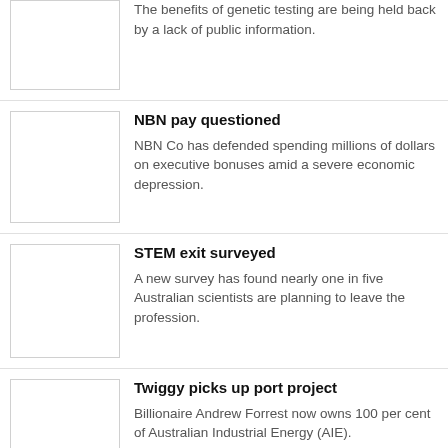The benefits of genetic testing are being held back by a lack of public information.
NBN pay questioned
NBN Co has defended spending millions of dollars on executive bonuses amid a severe economic depression.
STEM exit surveyed
A new survey has found nearly one in five Australian scientists are planning to leave the profession.
Twiggy picks up port project
Billionaire Andrew Forrest now owns 100 per cent of Australian Industrial Energy (AIE).